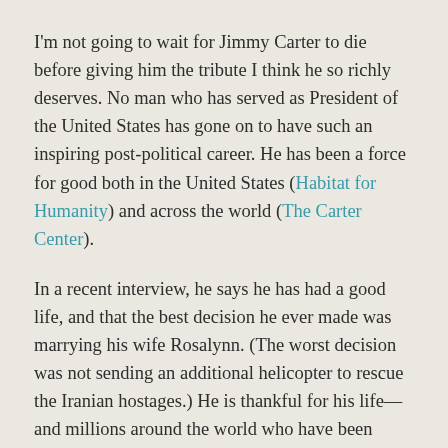I'm not going to wait for Jimmy Carter to die before giving him the tribute I think he so richly deserves. No man who has served as President of the United States has gone on to have such an inspiring post-political career. He has been a force for good both in the United States (Habitat for Humanity) and across the world (The Carter Center).
In a recent interview, he says he has had a good life, and that the best decision he ever made was marrying his wife Rosalynn. (The worst decision was not sending an additional helicopter to rescue the Iranian hostages.) He is thankful for his life—and millions around the world who have been touched by his good deeds are thankful for his life.
I once worked with Manuel D. Plotkin, who served as Carter's director of the Bureau of the Census. He recalls once meeting his former boss in a hotel lobby. Upon